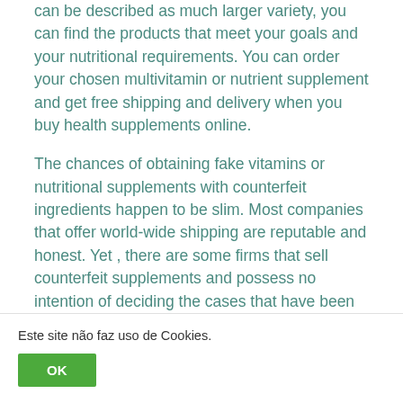can be described as much larger variety, you can find the products that meet your goals and your nutritional requirements. You can order your chosen multivitamin or nutrient supplement and get free shipping and delivery when you buy health supplements online.
The chances of obtaining fake vitamins or nutritional supplements with counterfeit ingredients happen to be slim. Most companies that offer world-wide shipping are reputable and honest. Yet , there are some firms that sell counterfeit supplements and possess no intention of deciding the cases that have been produced against all of them by consumers just like yourself. In case you suspect that a particular
Este site não faz uso de Cookies.
OK